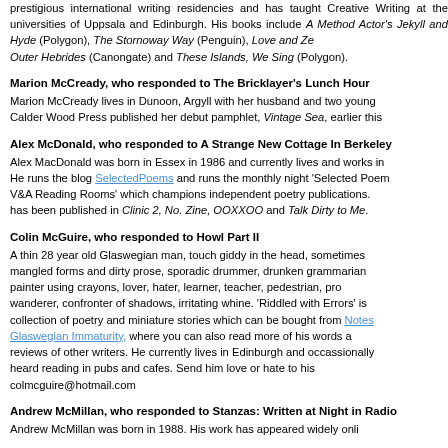prestigious international writing residencies and has taught Creative Writing at the universities of Uppsala and Edinburgh. His books include A Method Actor's Jekyll and Hyde (Polygon), The Stornoway Way (Penguin), Love and Ze... Outer Hebrides (Canongate) and These Islands, We Sing (Polygon).
Marion McCready, who responded to The Bricklayer's Lunch Hour
Marion McCready lives in Dunoon, Argyll with her husband and two young... Calder Wood Press published her debut pamphlet, Vintage Sea, earlier this...
Alex McDonald, who responded to A Strange New Cottage In Berkeley
Alex MacDonald was born in Essex in 1986 and currently lives and works in... He runs the blog SelectedPoems and runs the monthly night 'Selected Poem... V&A Reading Rooms' which champions independent poetry publications.... has been published in Clinic 2, No. Zine, OOXXOO and Talk Dirty to Me.
Colin McGuire, who responded to Howl Part II
A thin 28 year old Glaswegian man, touch giddy in the head, sometimes... mangled forms and dirty prose, sporadic drummer, drunken grammarian... painter using crayons, lover, hater, learner, teacher, pedestrian, pro... wanderer, confronter of shadows, irritating whine. 'Riddled with Errors' is... collection of poetry and miniature stories which can be bought from Notes... Glaswegian Immaturity, where you can also read more of his words a... reviews of other writers. He currently lives in Edinburgh and occassionally... heard reading in pubs and cafes. Send him love or hate to his... colmcguire@hotmail.com
Andrew McMillan, who responded to Stanzas: Written at Night in Radio...
Andrew McMillan was born in 1988. His work has appeared widely onli...